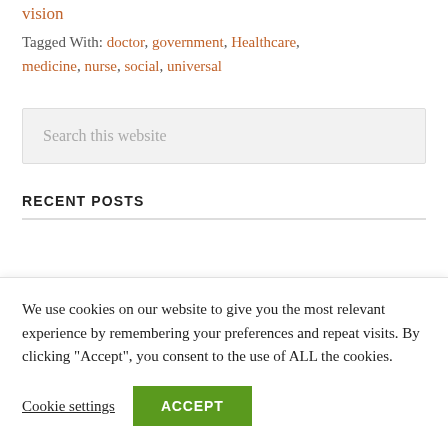vision
Tagged With: doctor, government, Healthcare, medicine, nurse, social, universal
Search this website
RECENT POSTS
We use cookies on our website to give you the most relevant experience by remembering your preferences and repeat visits. By clicking “Accept”, you consent to the use of ALL the cookies.
Cookie settings
ACCEPT